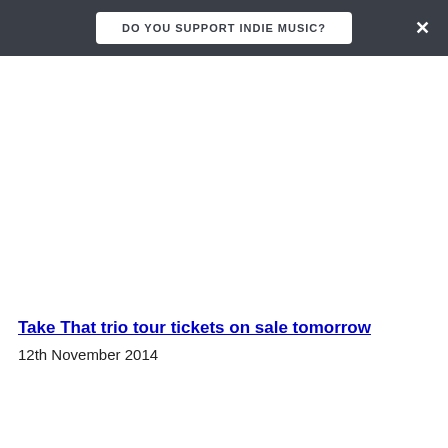DO YOU SUPPORT INDIE MUSIC?
Take That trio tour tickets on sale tomorrow
12th November 2014